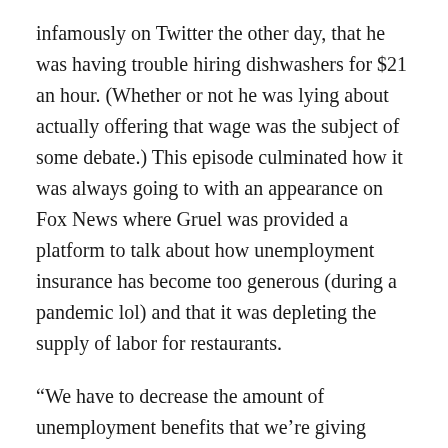infamously on Twitter the other day, that he was having trouble hiring dishwashers for $21 an hour. (Whether or not he was lying about actually offering that wage was the subject of some debate.) This episode culminated how it was always going to with an appearance on Fox News where Gruel was provided a platform to talk about how unemployment insurance has become too generous (during a pandemic lol) and that it was depleting the supply of labor for restaurants.
“We have to decrease the amount of unemployment benefits that we’re giving because there isn't a requirement that you look for work,” he told Laura Ingraham. “I’ve got some employees that I know who are even double dipping because they’re not checking.”
He did not mention just how dangerous working in a